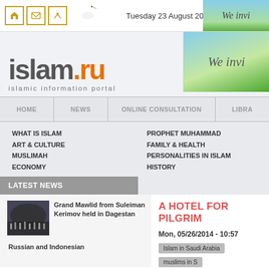Tuesday 23 August 2022 \
islam.ru — islamic information portal
We invi
HOME | NEWS | ONLINE CONSULTATION | LIBRA
WHAT IS ISLAM
ART & CULTURE
MUSLIMAH
ECONOMY
PROPHET MUHAMMAD
FAMILY & HEALTH
PERSONALITIES IN ISLAM
HISTORY
SCIENC
FIQH
ISLAMI
DU`A/S
LATEST NEWS
Grand Mawlid from Suleiman Kerimov held in Dagestan
Russian and Indonesian
A HOTEL FOR PILGRIM
Mon, 05/26/2014 - 10:57
Islam in Saudi Arabia   muslims in S